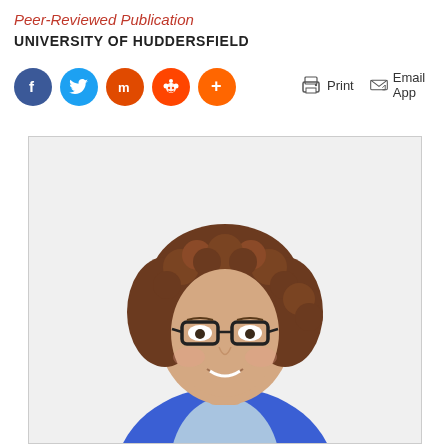Peer-Reviewed Publication
UNIVERSITY OF HUDDERSFIELD
[Figure (other): Social media share buttons: Facebook (blue circle), Twitter (light blue circle), Mix (red-orange circle), Reddit (orange circle), More/Plus (orange circle). Print and Email App action buttons.]
[Figure (photo): Professional headshot of a woman with curly brown hair wearing black-rimmed glasses and a blue blazer over a light blue shirt, photographed against a white background.]